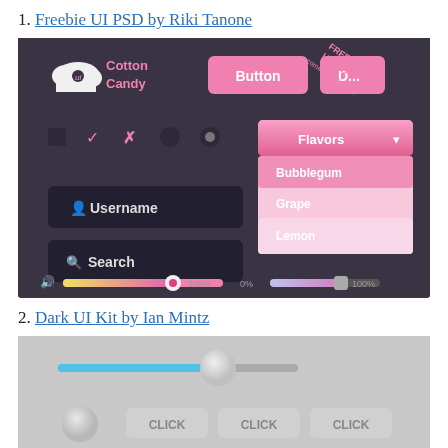1. Freebie UI PSD by Riki Tanone
[Figure (screenshot): Cotton Candy UI PSD screenshot showing dark-themed UI components: logo with cloud icon, pink buttons labeled Button and D_, checkboxes, radio buttons, Flavors dropdown with Bubblegum/Grape/Lemon options, Username and Search input fields, and two horizontal sliders at 100% and 0%-100%. A diagonal banner reads FREE UI PSD comes in 3 flavors!]
2. Dark UI Kit by Ian Mintz
[Figure (screenshot): Dark UI Kit screenshot showing a gray-toned UI with a horizontal slider with blue fill and circular thumb, a circular button element, and three CLICK buttons at the bottom.]